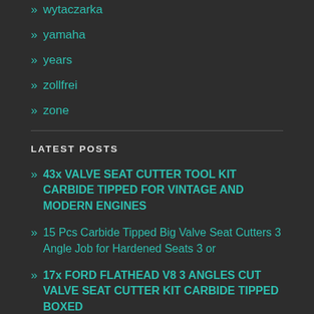» wytaczarka
» yamaha
» years
» zollfrei
» zone
LATEST POSTS
» 43x VALVE SEAT CUTTER TOOL KIT CARBIDE TIPPED FOR VINTAGE AND MODERN ENGINES
» 15 Pcs Carbide Tipped Big Valve Seat Cutters 3 Angle Job for Hardened Seats 3 or
» 17x FORD FLATHEAD V8 3 ANGLES CUT VALVE SEAT CUTTER KIT CARBIDE TIPPED BOXED
» 17x 3 Angles Cut VALVE SEAT CUTTER KIT GM 6.0L LS2 V8 SMALL BLOCK CARBIDE TIPPED